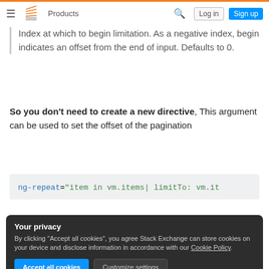Stack Overflow — Products | Log in | Sign up
Index at which to begin limitation. As a negative index, begin indicates an offset from the end of input. Defaults to 0.
So you don't need to create a new directive, This argument can be used to set the offset of the pagination
ng-repeat="item in vm.items| limitTo: vm.it
Your privacy
By clicking "Accept all cookies", you agree Stack Exchange can store cookies on your device and disclose information in accordance with our Cookie Policy.
Accept all cookies  Customize settings